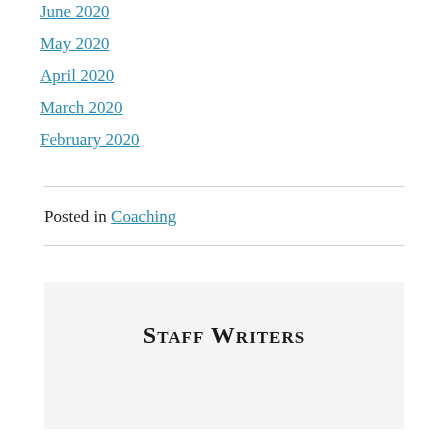June 2020
May 2020
April 2020
March 2020
February 2020
Posted in Coaching
Staff Writers